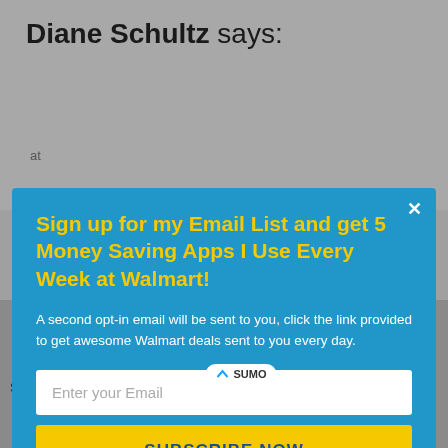Diane Schultz says:
at
[Figure (infographic): Email subscription popup modal with blue background. Title in yellow: 'Sign up for my Email List and get 5 Money Saving Apps I Use Every Week at Walmart!'. White body text: 'A second opt-in email will be sent to you, click the link provided to get awesome Walmart deals sent to you every day.' Email input field and yellow SUBSCRIBE NOW button.]
i will will need your help
17 Shares
[Figure (infographic): Social sharing icons row: Facebook (blue), Twitter (light blue), Google+ (red), Pinterest (dark red), Sumo (dark blue). A white SUMO pill badge overlaid in the center. Pinterest icon shows count badge of 17.]